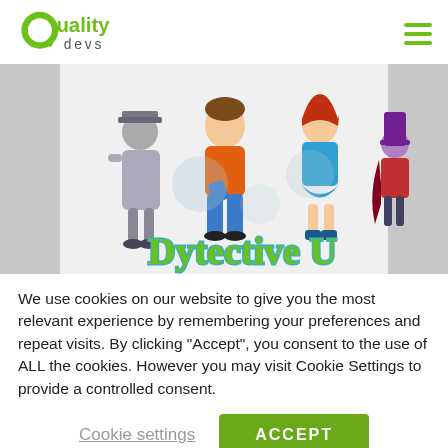Quality devs
[Figure (illustration): Dytective U game banner showing animated characters: a spy in grey coat, a boy in orange shirt, a girl in blue outfit, and a villain in purple, with the 'Dytective U' logo in green and blue lettering]
We use cookies on our website to give you the most relevant experience by remembering your preferences and repeat visits. By clicking "Accept", you consent to the use of ALL the cookies. However you may visit Cookie Settings to provide a controlled consent.
Cookie settings
ACCEPT